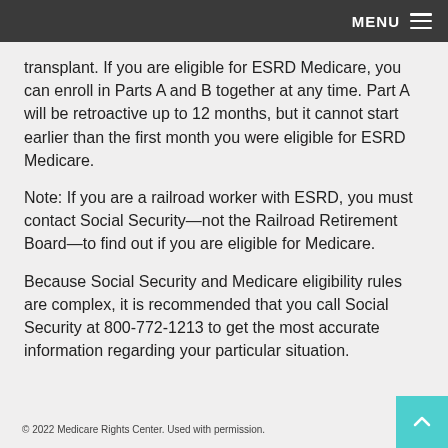MENU
transplant. If you are eligible for ESRD Medicare, you can enroll in Parts A and B together at any time. Part A will be retroactive up to 12 months, but it cannot start earlier than the first month you were eligible for ESRD Medicare.
Note: If you are a railroad worker with ESRD, you must contact Social Security—not the Railroad Retirement Board—to find out if you are eligible for Medicare.
Because Social Security and Medicare eligibility rules are complex, it is recommended that you call Social Security at 800-772-1213 to get the most accurate information regarding your particular situation.
© 2022 Medicare Rights Center. Used with permission.